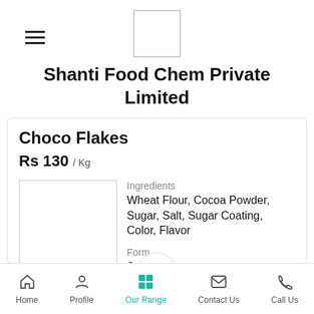[Figure (logo): Company logo placeholder box]
Shanti Food Chem Private Limited
Choco Flakes
Rs 130 / Kg
[Figure (photo): Product image placeholder]
Ingredients
Wheat Flour, Cocoa Powder, Sugar, Salt, Sugar Coating, Color, Flavor
Form
Scoops
...more
Home  Profile  Our Range  Contact Us  Call Us